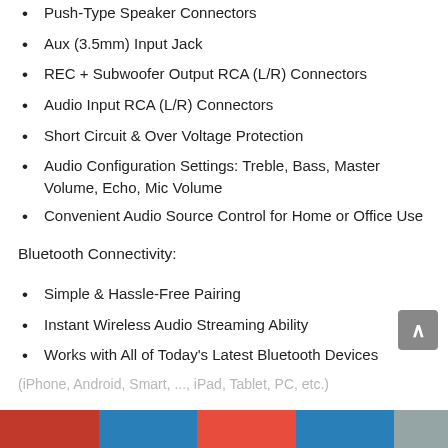Push-Type Speaker Connectors
Aux (3.5mm) Input Jack
REC + Subwoofer Output RCA (L/R) Connectors
Audio Input RCA (L/R) Connectors
Short Circuit & Over Voltage Protection
Audio Configuration Settings: Treble, Bass, Master Volume, Echo, Mic Volume
Convenient Audio Source Control for Home or Office Use
Bluetooth Connectivity:
Simple & Hassle-Free Pairing
Instant Wireless Audio Streaming Ability
Works with All of Today's Latest Bluetooth Devices
(iPhone, Android, Smart, ..., iPad, Tablet, PC, etc.)